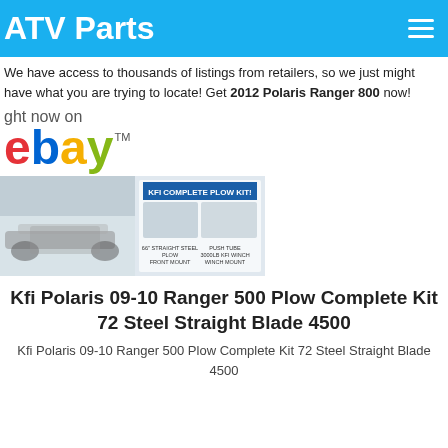ATV Parts
We have access to thousands of listings from retailers, so we just might have what you are trying to locate! Get 2012 Polaris Ranger 800 now!
ght now on
[Figure (logo): eBay logo with colored letters e(red), b(blue), a(yellow), y(green) and TM superscript]
[Figure (photo): ATV in snow on left, KFI Complete Plow Kit product image on right showing 66 inch straight steel plow, front mount, push tube, 3000lb KFI winch, winch mount]
Kfi Polaris 09-10 Ranger 500 Plow Complete Kit 72 Steel Straight Blade 4500
Kfi Polaris 09-10 Ranger 500 Plow Complete Kit 72 Steel Straight Blade 4500